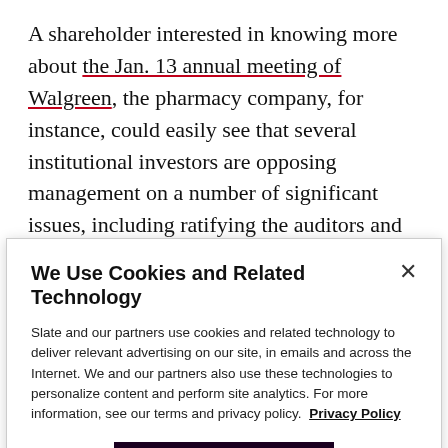A shareholder interested in knowing more about the Jan. 13 annual meeting of Walgreen, the pharmacy company, for instance, could easily see that several institutional investors are opposing management on a number of significant issues, including ratifying the auditors and eliminating the requirement of a supermajority vote in certain contexts. Armed with this knowledge, retail investors might decide to investigate more, join forces with the opposition, or remain passive
We Use Cookies and Related Technology
Slate and our partners use cookies and related technology to deliver relevant advertising on our site, in emails and across the Internet. We and our partners also use these technologies to personalize content and perform site analytics. For more information, see our terms and privacy policy. Privacy Policy